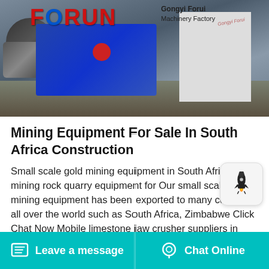[Figure (photo): Industrial mining machinery (roll crushers/jaw crushers in blue) with electric motors, displayed at Gongyi Forui Machinery Factory. Red FORUI logo visible on machinery. White wall in background.]
Mining Equipment For Sale In South Africa Construction
Small scale gold mining equipment in South Africa, used mining rock quarry equipment for Our small scale gold mining equipment has been exported to many coutries all over the world such as South Africa, Zimbabwe Click Chat Now Mobile limestone jaw crusher suppliers in south africa mobile limestone crusher for hire south africa mobile limestone jaw crusher for hire in malaysia
Leave a message   Chat Online